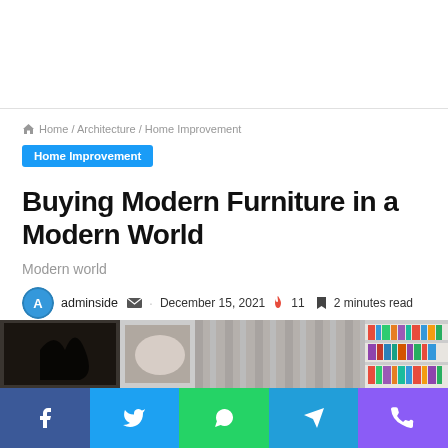Home / Architecture / Home Improvement
Home Improvement
Buying Modern Furniture in a Modern World
Modern world
adminside  ·  December 15, 2021  🔥 11  🔖 2 minutes read
[Figure (photo): Interior photo showing framed artwork, soft furnishings, curtains, and a bookshelf]
[Figure (infographic): Social sharing bar with Facebook, Twitter, WhatsApp, Telegram, and Viber buttons]